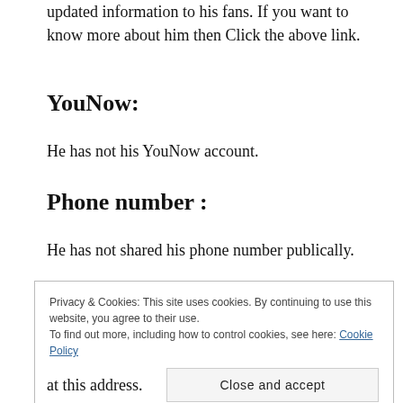updated information to his fans. If you want to know more about him then Click the above link.
YouNow:
He has not his YouNow account.
Phone number :
He has not shared his phone number publically.
Privacy & Cookies: This site uses cookies. By continuing to use this website, you agree to their use. To find out more, including how to control cookies, see here: Cookie Policy
at this address.